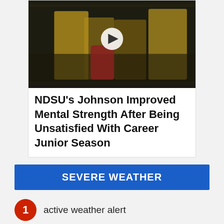[Figure (screenshot): Video thumbnail showing football players in yellow jerseys with a play button overlay]
NDSU's Johnson Improved Mental Strength After Being Unsatisfied With Career Junior Season
SEVERE WEATHER
1 active weather alert